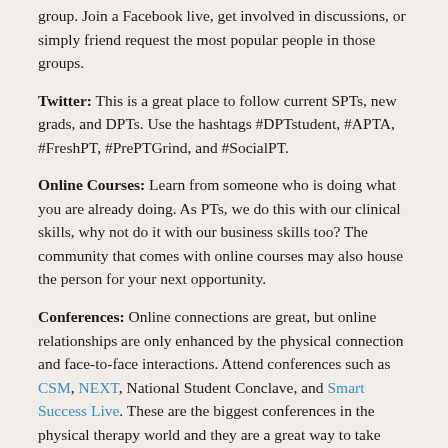group. Join a Facebook live, get involved in discussions, or simply friend request the most popular people in those groups.
Twitter: This is a great place to follow current SPTs, new grads, and DPTs. Use the hashtags #DPTstudent, #APTA, #FreshPT, #PrePTGrind, and #SocialPT.
Online Courses: Learn from someone who is doing what you are already doing. As PTs, we do this with our clinical skills, why not do it with our business skills too? The community that comes with online courses may also house the person for your next opportunity.
Conferences: Online connections are great, but online relationships are only enhanced by the physical connection and face-to-face interactions. Attend conferences such as CSM, NEXT, National Student Conclave, and Smart Success Live. These are the biggest conferences in the physical therapy world and they are a great way to take your career to the next level. People like to do business with the people they like. Someone at one of these conferences may have